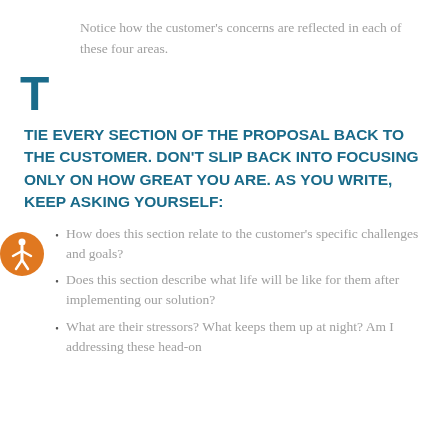Notice how the customer's concerns are reflected in each of these four areas.
T
TIE EVERY SECTION OF THE PROPOSAL BACK TO THE CUSTOMER. DON'T SLIP BACK INTO FOCUSING ONLY ON HOW GREAT YOU ARE. AS YOU WRITE, KEEP ASKING YOURSELF:
How does this section relate to the customer's specific challenges and goals?
Does this section describe what life will be like for them after implementing our solution?
What are their stressors? What keeps them up at night? Am I addressing these head-on